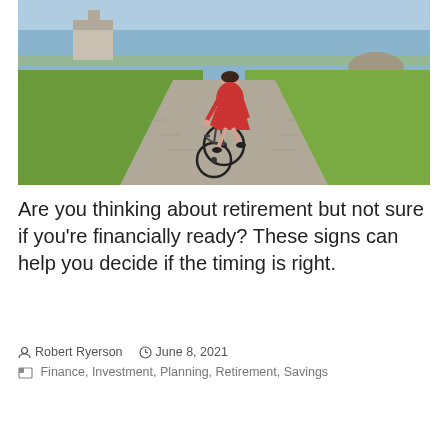[Figure (photo): A person in a red dress riding a bicycle away from the camera on a gravel path, with green grass on either side, water and a building visible in the background.]
Are you thinking about retirement but not sure if you're financially ready? These signs can help you decide if the timing is right.
Robert Ryerson   June 8, 2021
Finance, Investment, Planning, Retirement, Savings